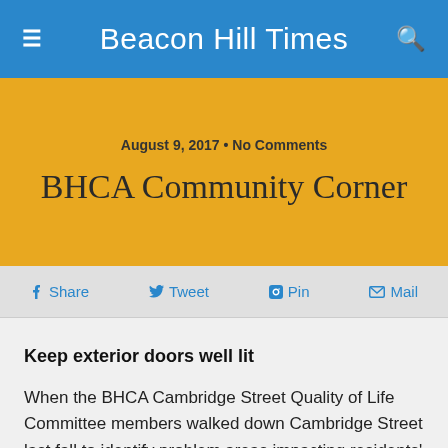Beacon Hill Times
BHCA Community Corner
August 9, 2017 • No Comments
Share  Tweet  Pin  Mail
Keep exterior doors well lit
When the BHCA Cambridge Street Quality of Life Committee members walked down Cambridge Street last fall to identify problem areas impacting residents' quality of life and safety, they noted that several